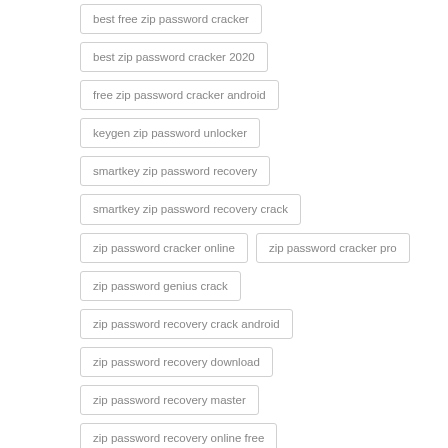best free zip password cracker
best zip password cracker 2020
free zip password cracker android
keygen zip password unlocker
smartkey zip password recovery
smartkey zip password recovery crack
zip password cracker online
zip password cracker pro
zip password genius crack
zip password recovery crack android
zip password recovery download
zip password recovery master
zip password recovery online free